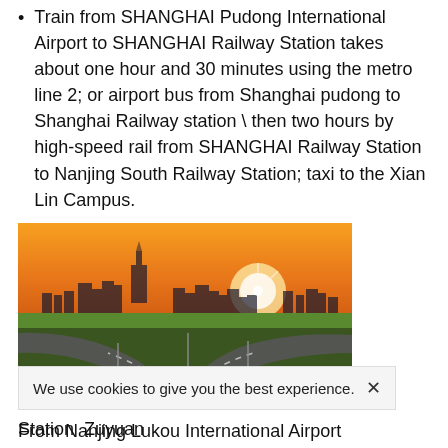Train from SHANGHAI Pudong International Airport to SHANGHAI Railway Station takes about one hour and 30 minutes using the metro line 2; or airport bus from Shanghai pudong to Shanghai Railway station \ then two hours by high-speed rail from SHANGHAI Railway Station to Nanjing South Railway Station; taxi to the Xian Lin Campus.
[Figure (photo): Aerial photo of a city highway interchange at sunset with orange sky, city skyline with tall tower in background]
From Nanjing Lukou International Airport
ta
We use cookies to give you the best experience.  ×
Disclaimer
Station  Zuyuan